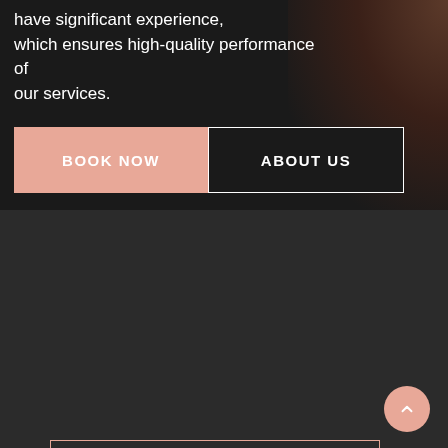have significant experience, which ensures high-quality performance of our services.
[Figure (screenshot): Two buttons side by side: 'BOOK NOW' in salmon/peach background and 'ABOUT US' in dark background with white border]
[Figure (logo): Decorative rectangular frame with salmon border on dark background, containing partial text 'LASHES' in large white bold letters at the bottom]